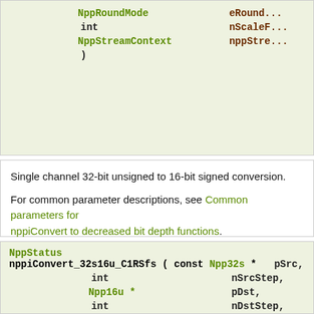| NppRoundMode | eRound... |
| int | nScaleF... |
| NppStreamContext | nppStre... |
| ) |  |
Single channel 32-bit unsigned to 16-bit signed conversion.
For common parameter descriptions, see Common parameters for nppiConvert to decreased bit depth functions.
NppStatus
nppiConvert_32s16u_C1RSfs ( const Npp32s * pSrc,
 int nSrcStep,
 Npp16u * pDst,
 int nDstStep,
 NppiSize oSizeROI,
 NppRoundMode eRoundMode,
 int nScaleFactor